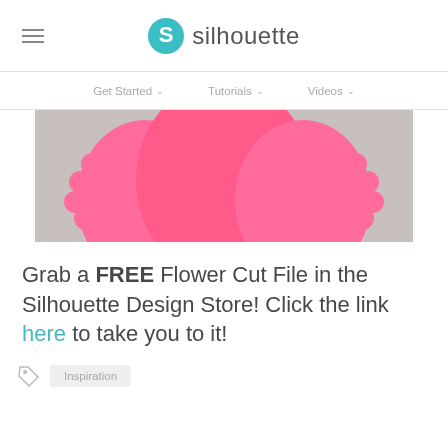silhouette
Get Started  |  Tutorials  |  Videos
[Figure (photo): Pink paper flower cut file craft, showing large pink scalloped flower petals against a grey background.]
Grab a FREE Flower Cut File in the Silhouette Design Store! Click the link here to take you to it!
Inspiration